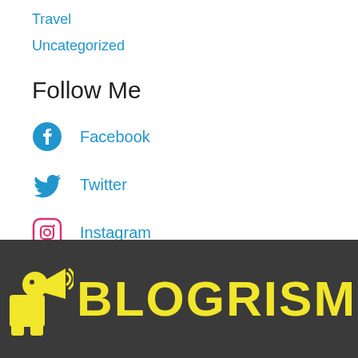Travel
Uncategorized
Follow Me
Facebook
Twitter
Instagram
[Figure (logo): Blogrism logo — yellow mascot figure with megaphone and yellow bold text BLOGRISM on dark gray background]